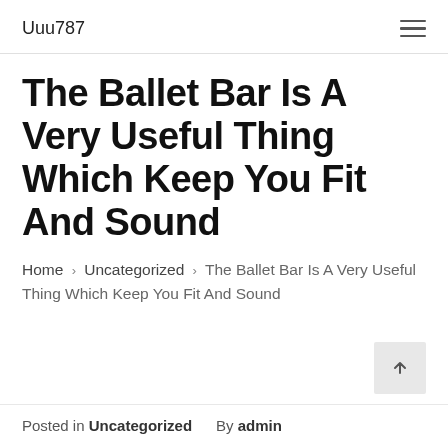Uuu787
The Ballet Bar Is A Very Useful Thing Which Keep You Fit And Sound
Home › Uncategorized › The Ballet Bar Is A Very Useful Thing Which Keep You Fit And Sound
Posted in Uncategorized   By admin